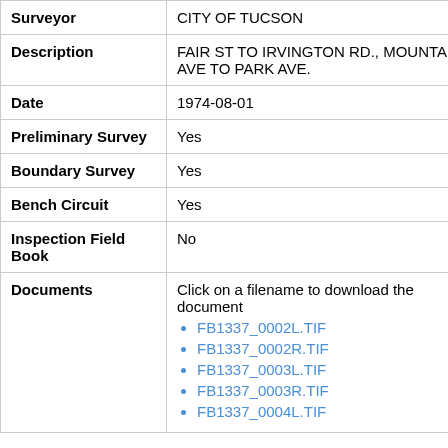| Field | Value |
| --- | --- |
| Surveyor | CITY OF TUCSON |
| Description | FAIR ST TO IRVINGTON RD., MOUNTAIN AVE TO PARK AVE. |
| Date | 1974-08-01 |
| Preliminary Survey | Yes |
| Boundary Survey | Yes |
| Bench Circuit | Yes |
| Inspection Field Book | No |
| Documents | Click on a filename to download the document
• FB1337_0002L.TIF
• FB1337_0002R.TIF
• FB1337_0003L.TIF
• FB1337_0003R.TIF
• FB1337_0004L.TIF |